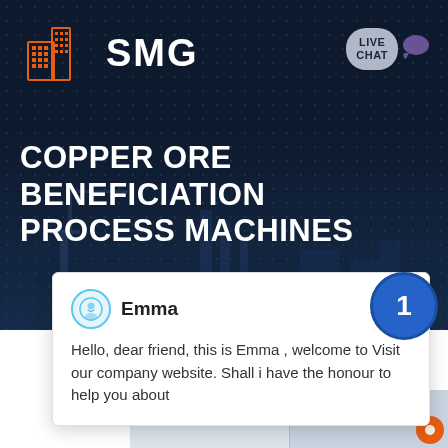[Figure (logo): SMG company logo with orange building icon and white SMG text on dark navy background]
COPPER ORE BENEFICIATION PROCESS MACHINES
[Figure (screenshot): Live chat popup from Emma: Hello, dear friend, this is Emma, welcome to Visit our company website. Shall i have the honour to help you about]
[Figure (photo): Bottom partial image of industrial machinery or facility interior]